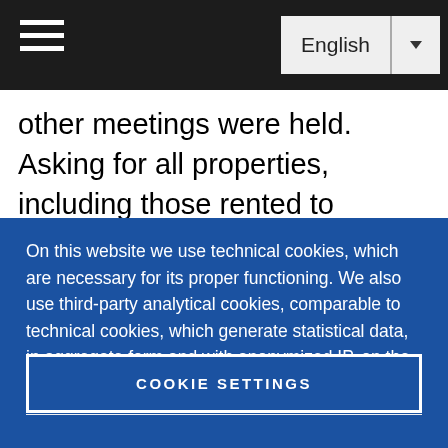English
other meetings were held. Asking for all properties, including those rented to persons
On this website we use technical cookies, which are necessary for its proper functioning. We also use third-party analytical cookies, comparable to technical cookies, which generate statistical data, in aggregate form and with anonymized IP, on the
COOKIE SETTINGS
DENY ALL
ACCEPT ALL